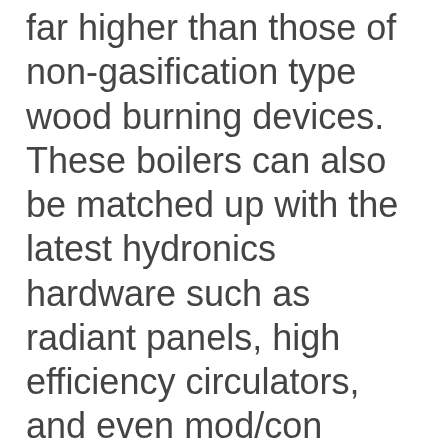far higher than those of non-gasification type wood burning devices.  These boilers can also be matched up with the latest hydronics hardware such as radiant panels, high efficiency circulators, and even mod/con boilers (in cases where fully automatic heat delivery is required if the wood fired boiler is not operating).
One critical detail that must be addressed with any wood gasification boiler is to ...